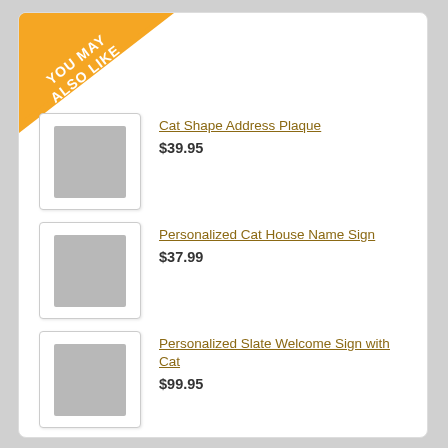[Figure (infographic): Orange diagonal banner in top-left corner with text 'YOU MAY ALSO LIKE']
Cat Shape Address Plaque
$39.95
Personalized Cat House Name Sign
$37.99
Personalized Slate Welcome Sign with Cat
$99.95
Engraved Cat Memorial Brick
$36.99